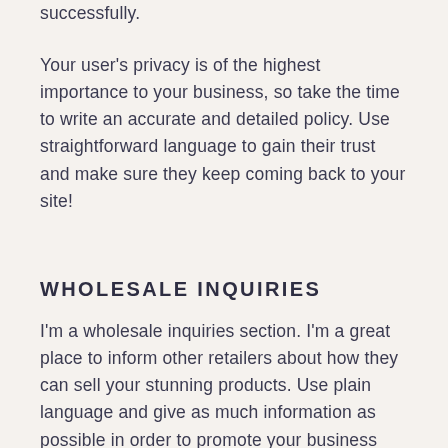successfully.
Your user's privacy is of the highest importance to your business, so take the time to write an accurate and detailed policy. Use straightforward language to gain their trust and make sure they keep coming back to your site!
WHOLESALE INQUIRIES
I'm a wholesale inquiries section. I'm a great place to inform other retailers about how they can sell your stunning products. Use plain language and give as much information as possible in order to promote your business and take it to the next level!
I'm the second paragraph in your wholesale inquiries section. Click here to